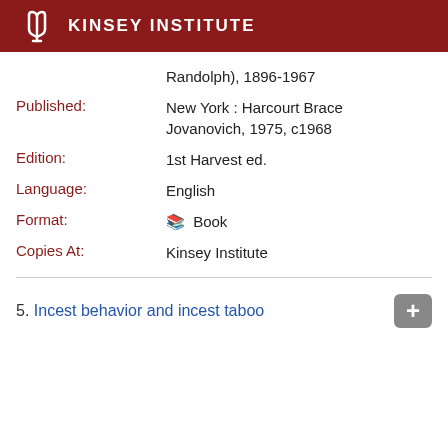KINSEY INSTITUTE
Randolph), 1896-1967
Published:
New York : Harcourt Brace Jovanovich, 1975, c1968
Edition:
1st Harvest ed.
Language:
English
Format:
Book
Copies At:
Kinsey Institute
5. Incest behavior and incest taboo